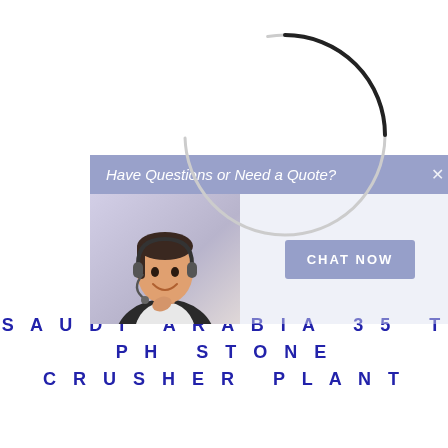[Figure (screenshot): A chat widget popup showing 'Have Questions or Need a Quote?' header with a customer service representative photo on the left and a 'CHAT NOW' button on the right. A large spinning/loading circle SVG is overlaid on top of the widget.]
SAUDI ARABIA 35 TPH STONE CRUSHER PLANT